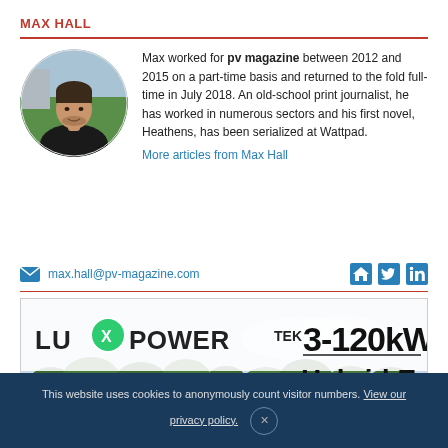MAX HALL
Max worked for pv magazine between 2012 and 2015 on a part-time basis and returned to the fold full-time in July 2018. An old-school print journalist, he has worked in numerous sectors and his first novel, Heathens, has been serialized at Wattpad.
More articles from Max Hall
max.hall@pv-magazine.com
[Figure (photo): Circular portrait photo of Max Hall, a man in a dark jacket outdoors]
[Figure (photo): Advertisement banner for LU X POWER TEK showing 3-120kW Hybrid Expert with tree and sky background]
This website uses cookies to anonymously count visitor numbers. View our privacy policy.